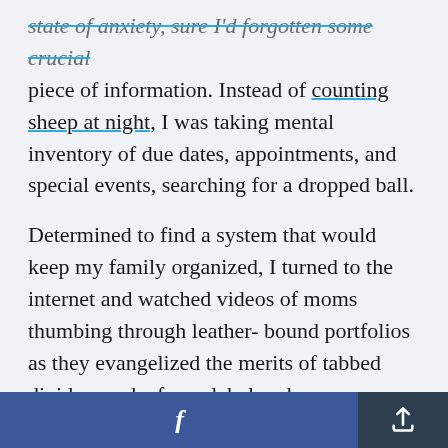state of anxiety, sure I'd forgotten some crucial piece of information. Instead of counting sheep at night, I was taking mental inventory of due dates, appointments, and special events, searching for a dropped ball.
Determined to find a system that would keep my family organized, I turned to the internet and watched videos of moms thumbing through leather-bound portfolios as they evangelized the merits of tabbed dividers and a fancy label maker.
Unfortunately, it turns out I'm one of those "write
f  [share icon]